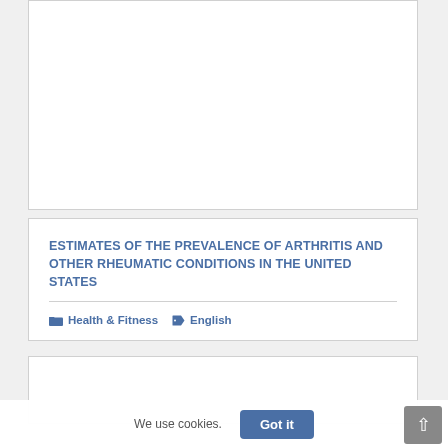[Figure (other): White card placeholder (top card with no visible content)]
ESTIMATES OF THE PREVALENCE OF ARTHRITIS AND OTHER RHEUMATIC CONDITIONS IN THE UNITED STATES
Health & Fitness   English
[Figure (other): White card placeholder (bottom card with no visible content)]
We use cookies.
Got it